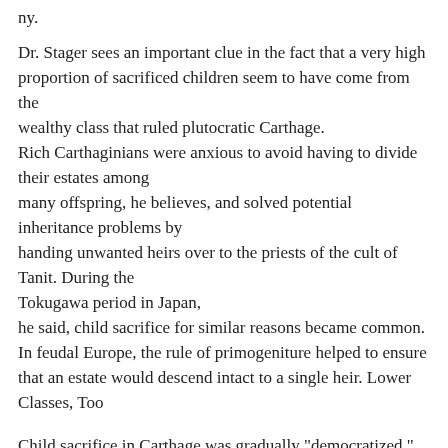ny.
Dr. Stager sees an important clue in the fact that a very high proportion of sacrificed children seem to have come from the wealthy class that ruled plutocratic Carthage. Rich Carthaginians were anxious to avoid having to divide their estates among many offspring, he believes, and solved potential inheritance problems by handing unwanted heirs over to the priests of the cult of Tanit. During the Tokugawa period in Japan, he said, child sacrifice for similar reasons became common. In feudal Europe, the rule of primogeniture helped to ensure that an estate would descend intact to a single heir. Lower Classes, Too
Child sacrifice in Carthage was gradually "democratized," he said. The children sacrificed during the 5th century B.C. were